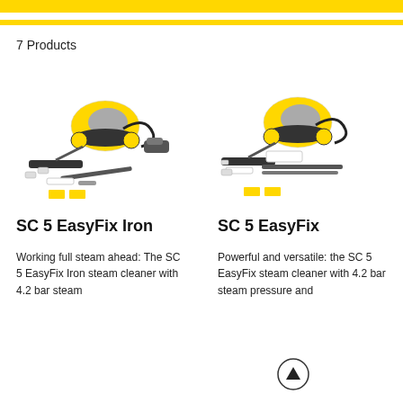7 Products
[Figure (photo): SC 5 EasyFix Iron steam cleaner product photo with accessories]
[Figure (photo): SC 5 EasyFix steam cleaner product photo with accessories]
SC 5 EasyFix Iron
SC 5 EasyFix
Working full steam ahead: The SC 5 EasyFix Iron steam cleaner with 4.2 bar steam
Powerful and versatile: the SC 5 EasyFix steam cleaner with 4.2 bar steam pressure and